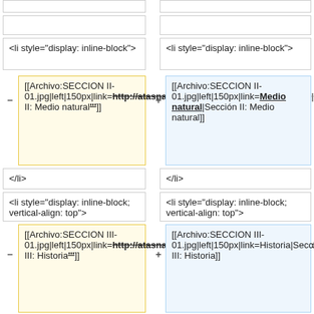<li style="display: inline-block">
<li style="display: inline-block">
[[Archivo:SECCION II-01.jpg|left|150px|link=http://atasnacional.ign.es/wane/Medio_natural|'''Sección II: Medio natural''']]
[[Archivo:SECCION II-01.jpg|left|150px|link=Medio natural|Sección II: Medio natural]]
</li>
</li>
<li style="display: inline-block; vertical-align: top">
<li style="display: inline-block; vertical-align: top">
[[Archivo:SECCION III-01.jpg|left|150px|link=http://atasnacional.ign.es/wane/Historia|'''Sección III: Historia''']]
[[Archivo:SECCION III-01.jpg|left|150px|link=Historia|Sección III: Historia]]